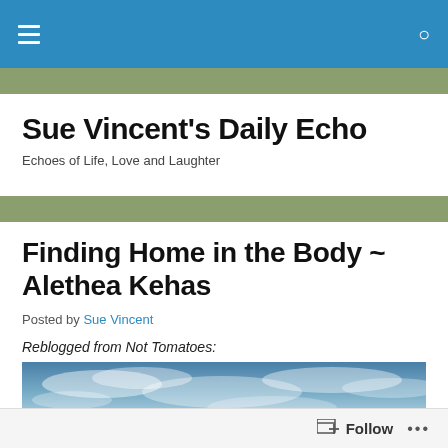Navigation bar with menu and search icons
Sue Vincent's Daily Echo
Echoes of Life, Love and Laughter
Finding Home in the Body ~ Alethea Kehas
Posted by Sue Vincent
Reblogged from Not Tomatoes:
[Figure (photo): Sky with soft clouds, blue tones, partial view]
Follow   ...